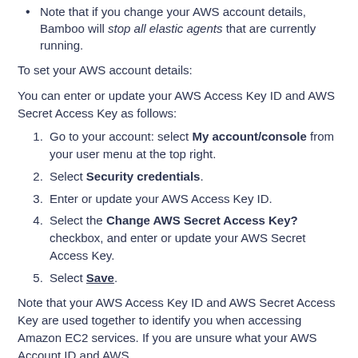Note that if you change your AWS account details, Bamboo will stop all elastic agents that are currently running.
To set your AWS account details:
You can enter or update your AWS Access Key ID and AWS Secret Access Key as follows:
Go to your account: select My account/console from your user menu at the top right.
Select Security credentials.
Enter or update your AWS Access Key ID.
Select the Change AWS Secret Access Key? checkbox, and enter or update your AWS Secret Access Key.
Select Save.
Note that your AWS Access Key ID and AWS Secret Access Key are used together to identify you when accessing Amazon EC2 services. If you are unsure what your AWS Account ID and AWS...